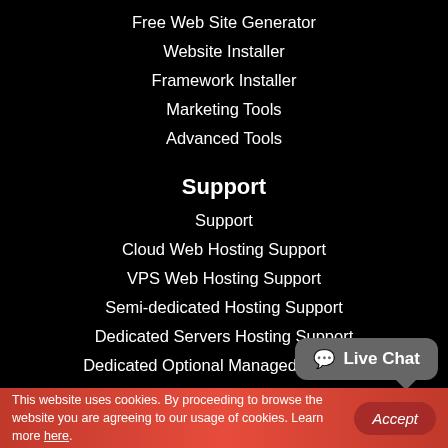Free Web Site Generator
Website Installer
Framework Installer
Marketing Tools
Advanced Tools
Support
Support
Cloud Web Hosting Support
VPS Web Hosting Support
Semi-dedicated Hosting Support
Dedicated Servers Hosting Support
Dedicated Optional Managed Services
VPS Optional Managed Services
Hosting Glossary
WordPress Web Designer
Live Chat
This website uses cookies. By proceeding to browse the website you are agreeing to our usage of cookies. Learn more here.
Accept